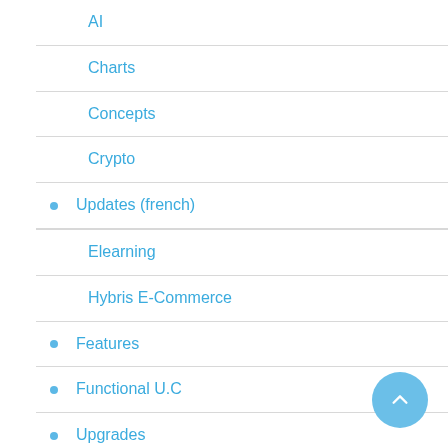AI
Charts
Concepts
Crypto
Updates (french)
Elearning
Hybris E-Commerce
Features
Functional U.C
Upgrades
Non classé